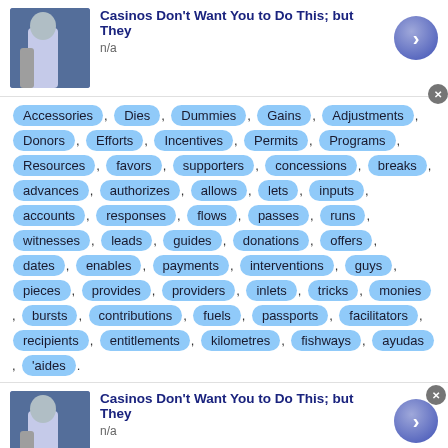[Figure (other): Ad card with thumbnail image of person, title 'Casinos Don't Want You to Do This; but They', subtitle 'n/a', arrow button, and close button]
Accessories , Dies , Dummies , Gains , Adjustments , Donors , Efforts , Incentives , Permits , Programs , Resources , favors , supporters , concessions , breaks , advances , authorizes , allows , lets , inputs , accounts , responses , flows , passes , runs , witnesses , leads , guides , donations , offers , dates , enables , payments , interventions , guys , pieces , provides , providers , inlets , tricks , monies , bursts , contributions , fuels , passports , facilitators , recipients , entitlements , kilometres , fishways , ayudas , 'aides .
[Figure (other): Second ad card with thumbnail image of person, title 'Casinos Don't Want You to Do This; but They', subtitle 'n/a', arrow button, and close button]